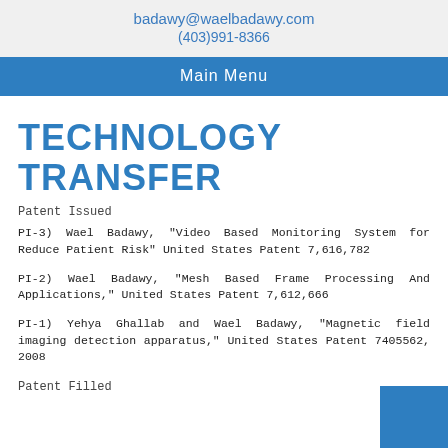badawy@waelbadawy.com
(403)991-8366
Main Menu
TECHNOLOGY TRANSFER
Patent Issued
PI-3) Wael Badawy, "Video Based Monitoring System for Reduce Patient Risk" United States Patent 7,616,782
PI-2) Wael Badawy, "Mesh Based Frame Processing And Applications," United States Patent 7,612,666
PI-1) Yehya Ghallab and Wael Badawy, "Magnetic field imaging detection apparatus," United States Patent 7405562, 2008
Patent Filled